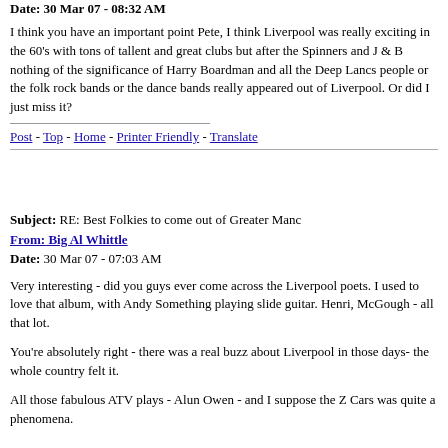Date: 30 Mar 07 - 08:32 AM
I think you have an important point Pete, I think Liverpool was really exciting in the 60's with tons of tallent and great clubs but after the Spinners and J & B nothing of the significance of Harry Boardman and all the Deep Lancs people or the folk rock bands or the dance bands really appeared out of Liverpool. Or did I just miss it?
Post - Top - Home - Printer Friendly - Translate
Subject: RE: Best Folkies to come out of Greater Manc
From: Big Al Whittle
Date: 30 Mar 07 - 07:03 AM
Very interesting - did you guys ever come across the Liverpool poets. I used to love that album, with Andy Something playing slide guitar. Henri, McGough - all that lot.
You're absolutely right - there was a real buzz about Liverpool in those days- the whole country felt it.
All those fabulous ATV plays - Alun Owen - and I suppose the Z Cars was quite a phenomena.